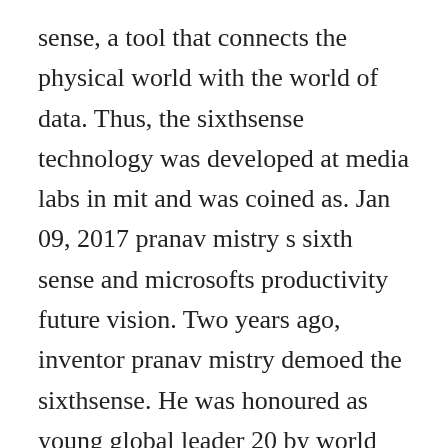sense, a tool that connects the physical world with the world of data. Thus, the sixthsense technology was developed at media labs in mit and was coined as. Jan 09, 2017 pranav mistry s sixth sense and microsofts productivity future vision. Two years ago, inventor pranav mistry demoed the sixthsense. He was honoured as young global leader 20 by world economic forum. Since then, interest in his work, boosted by a number of hugely popular youtube videos, has skyrocketed. Sixth sense technology abstract sixth sense is